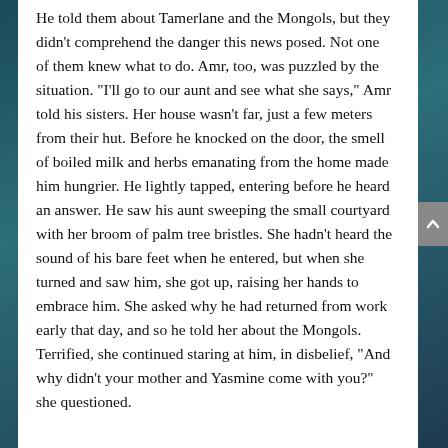He told them about Tamerlane and the Mongols, but they didn't comprehend the danger this news posed. Not one of them knew what to do. Amr, too, was puzzled by the situation. “I’ll go to our aunt and see what she says,” Amr told his sisters. Her house wasn’t far, just a few meters from their hut. Before he knocked on the door, the smell of boiled milk and herbs emanating from the home made him hungrier. He lightly tapped, entering before he heard an answer. He saw his aunt sweeping the small courtyard with her broom of palm tree bristles. She hadn’t heard the sound of his bare feet when he entered, but when she turned and saw him, she got up, raising her hands to embrace him. She asked why he had returned from work early that day, and so he told her about the Mongols. Terrified, she continued staring at him, in disbelief, “And why didn’t your mother and Yasmine come with you?” she questioned.